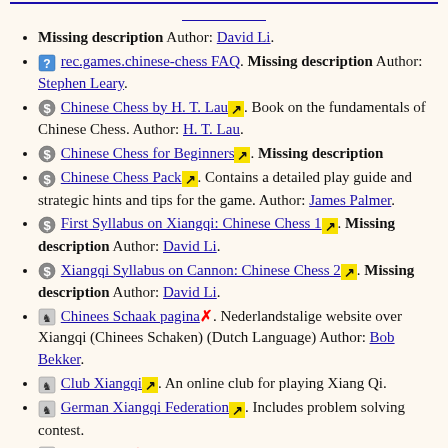Missing description Author: David Li.
rec.games.chinese-chess FAQ. Missing description Author: Stephen Leary.
Chinese Chess by H. T. Lau. Book on the fundamentals of Chinese Chess. Author: H. T. Lau.
Chinese Chess for Beginners. Missing description
Chinese Chess Pack. Contains a detailed play guide and strategic hints and tips for the game. Author: James Palmer.
First Syllabus on Xiangqi: Chinese Chess 1. Missing description Author: David Li.
Xiangqi Syllabus on Cannon: Chinese Chess 2. Missing description Author: David Li.
Chinees Schaak pagina. Nederlandstalige website over Xiangqi (Chinees Schaken) (Dutch Language) Author: Bob Bekker.
Club Xiangqi. An online club for playing Xiang Qi.
German Xiangqi Federation. Includes problem solving contest.
Go-Figure!. Webshop selling sets of Xiangqi (Chinese chess).
Simply XiangQi. Correspondence Chinese Chess